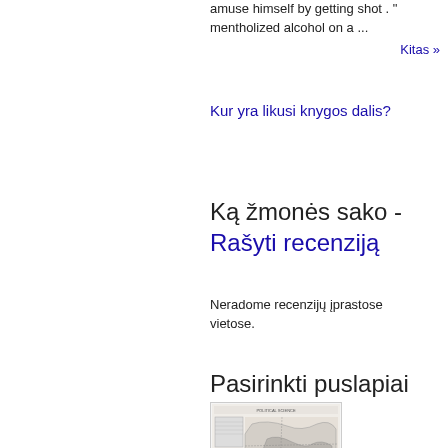amuse himself by getting shot . " mentholized alcohol on a ...
Kitas »
Kur yra likusi knygos dalis?
Ką žmonės sako - Rašyti recenziją
Neradome recenzijų įprastose vietose.
Pasirinkti puslapiai
[Figure (map): Small thumbnail of a map page showing geographic regions]